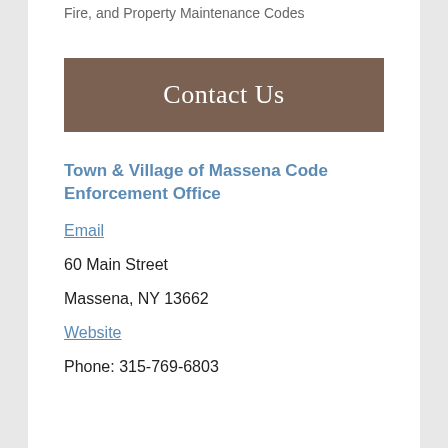Fire, and Property Maintenance Codes
Contact Us
Town & Village of Massena Code Enforcement Office
Email
60 Main Street
Massena, NY 13662
Website
Phone: 315-769-6803